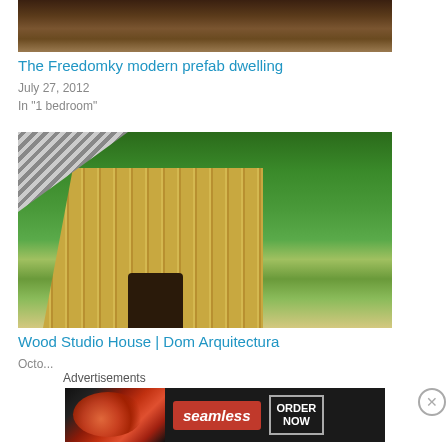[Figure (photo): Partial view of a vehicle on dirt ground, top portion of image]
The Freedomky modern prefab dwelling
July 27, 2012
In "1 bedroom"
[Figure (photo): Wood Studio House showing a modern wooden structure with vertical wood planks and a metal roof, surrounded by trees]
Wood Studio House | Dom Arquitectura
October 30, 2015 (partial)
Advertisements
[Figure (photo): Seamless food delivery advertisement banner showing pizza slices with 'seamless' logo and 'ORDER NOW' call to action]